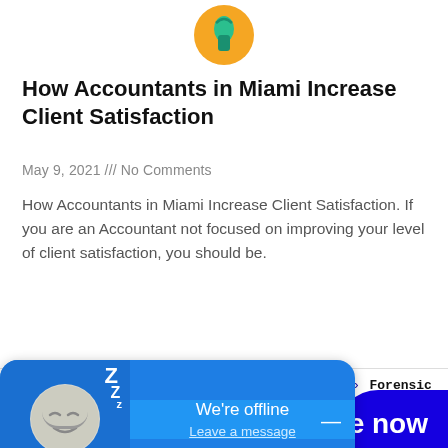[Figure (logo): Circular orange/teal logo icon at top center of page]
How Accountants in Miami Increase Client Satisfaction
May 9, 2021 /// No Comments
How Accountants in Miami Increase Client Satisfaction. If you are an Accountant not focused on improving your level of client satisfaction, you should be.
Read More »
Home » Accounting & Bookkeeping Services » Forensic Accounting
[Figure (screenshot): Chat widget showing offline status with sleeping face icon, 'We're offline' text, 'Leave a message' link, and minimize button]